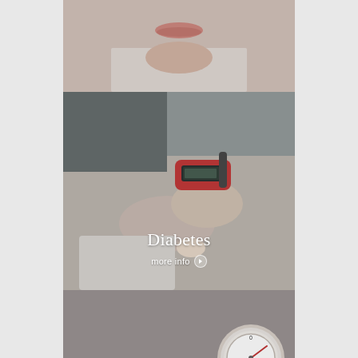[Figure (photo): Close-up photo of a person's mouth and chin area (top portion showing lips/jaw), suggesting a health/medical context]
[Figure (photo): Medical professional using a glucose meter/lancet on a patient's hand — diabetes testing scene. White text overlay reads 'Diabetes' with 'more info >' below.]
[Figure (photo): Hands operating a blood pressure cuff and sphygmomanometer gauge on a patient's arm. White text overlay reads 'High Blood Pressure' with 'more info >' below.]